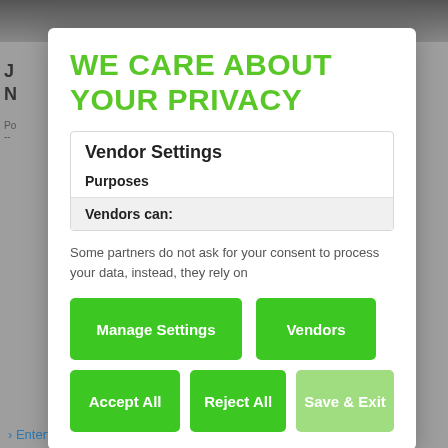WE CARE ABOUT YOUR PRIVACY
Vendor Settings
Purposes
Vendors can:
Some partners do not ask for your consent to process your data, instead, they rely on
Manage Settings
Vendors
Accept All
Reject All
Save & Exit
> Entertainment Photos